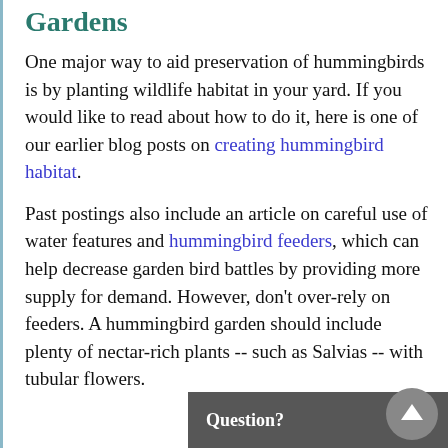Gardens
One major way to aid preservation of hummingbirds is by planting wildlife habitat in your yard. If you would like to read about how to do it, here is one of our earlier blog posts on creating hummingbird habitat.
Past postings also include an article on careful use of water features and hummingbird feeders, which can help decrease garden bird battles by providing more supply for demand. However, don't over-rely on feeders. A hummingbird garden should include plenty of nectar-rich plants -- such as Salvias -- with tubular flowers.